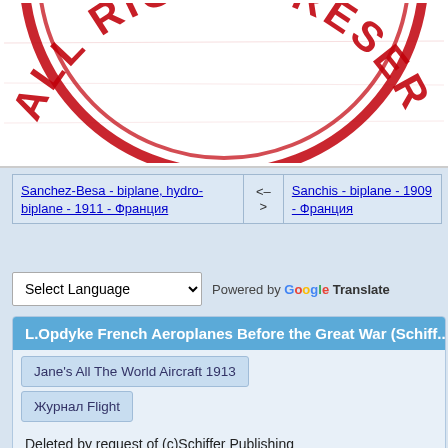[Figure (illustration): Red circular stamp partially visible showing 'ALL RIGHTS RESER' text in large letters, cropped at top]
| Sanchez-Besa - biplane, hydro-biplane - 1911 - Франция | <–
> | Sanchis - biplane - 1909 - Франция |
Select Language  Powered by Google Translate
L.Opdyke French Aeroplanes Before the Great War (Schiff...
Jane's All The World Aircraft 1913
Журнал Flight
Deleted by request of (c)Schiffer Publishing
[Figure (photo): Black and white historical photograph of an early aircraft, partially visible at bottom left]
L.Opdyke - French Aeroplanes Before the Great War /Schiffer/